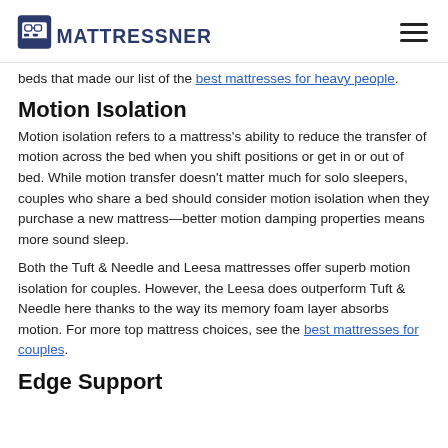MattressNerd
beds that made our list of the best mattresses for heavy people.
Motion Isolation
Motion isolation refers to a mattress's ability to reduce the transfer of motion across the bed when you shift positions or get in or out of bed. While motion transfer doesn't matter much for solo sleepers, couples who share a bed should consider motion isolation when they purchase a new mattress—better motion damping properties means more sound sleep.
Both the Tuft & Needle and Leesa mattresses offer superb motion isolation for couples. However, the Leesa does outperform Tuft & Needle here thanks to the way its memory foam layer absorbs motion. For more top mattress choices, see the best mattresses for couples.
Edge Support